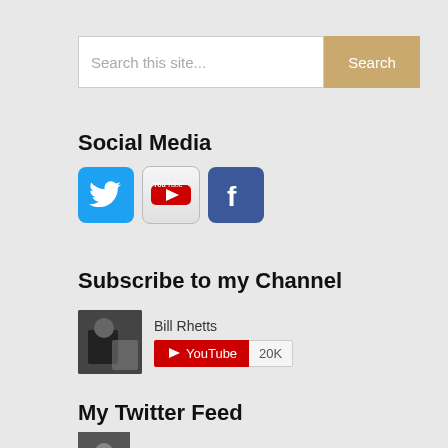[Figure (screenshot): Search bar with text input 'Search this site...' and a tan/gold 'Search' button]
Social Media
[Figure (infographic): Three social media icons: Twitter (blue bird), YouTube (red/white logo), Facebook (blue f)]
Subscribe to my Channel
[Figure (screenshot): YouTube channel widget showing 'Bill Rhetts' with a channel thumbnail, YouTube subscribe button in red, and 20K subscriber count]
My Twitter Feed
[Figure (screenshot): Twitter feed item showing avatar, 'Bill Rhetts' name, '19h' timestamp, and Twitter bird icon]